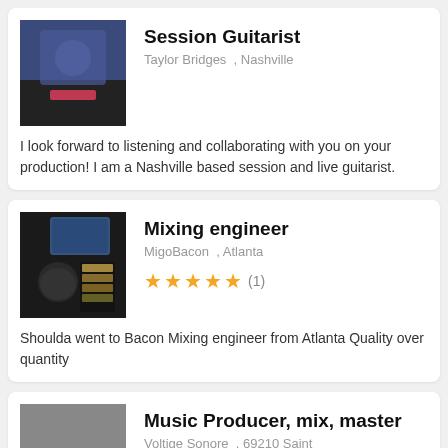Session Guitarist
Taylor Bridges , Nashville
I look forward to listening and collaborating with you on your production! I am a Nashville based session and live guitarist.
Mixing engineer
MigoBacon , Atlanta
★★★★★ (1)
Shoulda went to Bacon Mixing engineer from Atlanta Quality over quantity
Music Producer, mix, master
Voltige Sonore , 69210 Saint
Voltige Sonore is an audio protean creation studio and art residency